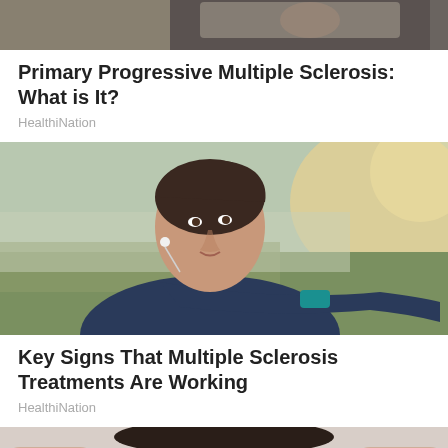[Figure (photo): Partial top image of a person, cropped — appears to be a wheelchair or vehicle scene, only top portion visible]
Primary Progressive Multiple Sclerosis: What is It?
HealthiNation
[Figure (photo): Young woman with earbuds stretching her arm outdoors, wearing a dark athletic jacket, with green field and bright bokeh background]
Key Signs That Multiple Sclerosis Treatments Are Working
HealthiNation
[Figure (photo): Partial bottom image of a woman's face with dark hair, cropped at forehead — appears to be raising arms]